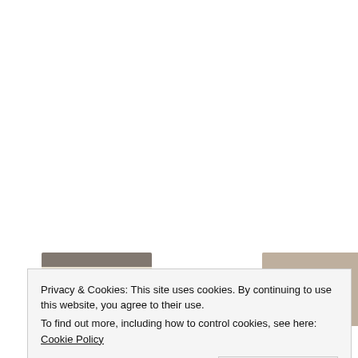[Figure (photo): Thumbnail image of gold/brass circular disc earrings held by a hand in black glove]
[Figure (photo): Thumbnail image of a hand holding or touching a small earring]
[Figure (photo): Thumbnail image of a blonde woman wearing an earring, touching her neck/ear area]
Privacy & Cookies: This site uses cookies. By continuing to use this website, you agree to their use.
To find out more, including how to control cookies, see here: Cookie Policy
Close and accept